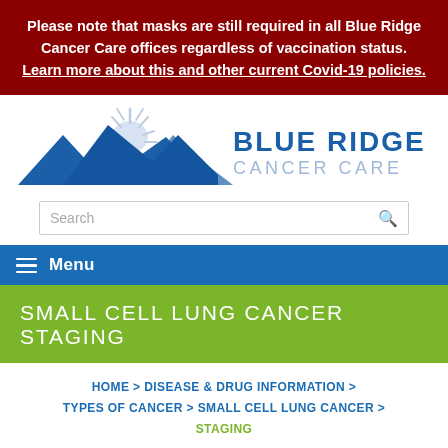Please note that masks are still required in all Blue Ridge Cancer Care offices regardless of vaccination status. Learn more about this and other current Covid-19 policies.
[Figure (logo): Blue Ridge Cancer Care logo — mountain peaks with sun graphic on left, 'BLUE RIDGE CANCER CARE' text in blue on right]
Search
Menu
SMALL CELL LUNG CANCER STAGING
HOME > DISEASE & DRUG INFORMATION > TYPES OF CANCER > SMALL CELL LUNG CANCER > STAGING